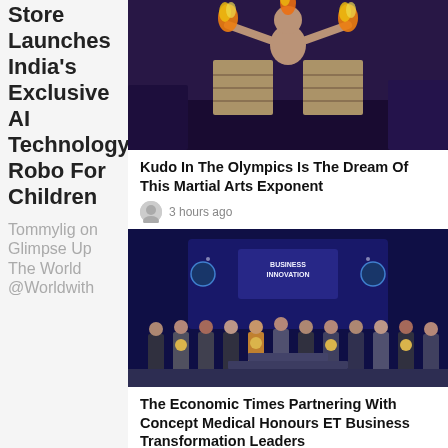Store Launches India's Exclusive AI Technology Robo For Children
Tommylig on Glimpse Up The World @Worldwith
[Figure (photo): A martial arts performer with fire on a stage]
Kudo In The Olympics Is The Dream Of This Martial Arts Exponent
3 hours ago
[Figure (photo): Group photo at an awards ceremony with The Economic Times Business Innovation branding]
The Economic Times Partnering With Concept Medical Honours ET Business Transformation Leaders